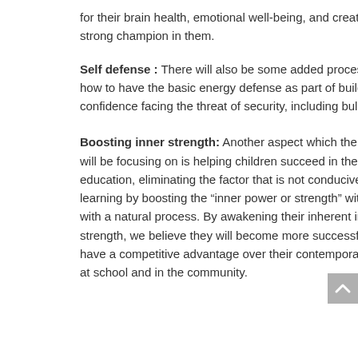for their brain health, emotional well-being, and create a strong champion in them.
Self defense : There will also be some added processes like how to have the basic energy defense as part of building confidence facing the threat of security, including bullying
Boosting inner strength: Another aspect which the program will be focusing on is helping children succeed in their education, eliminating the factor that is not conducive for learning by boosting the “inner power or strength” within them with a natural process. By awakening their inherent inner strength, we believe they will become more successful and have a competitive advantage over their contemporaries both at school and in the community.